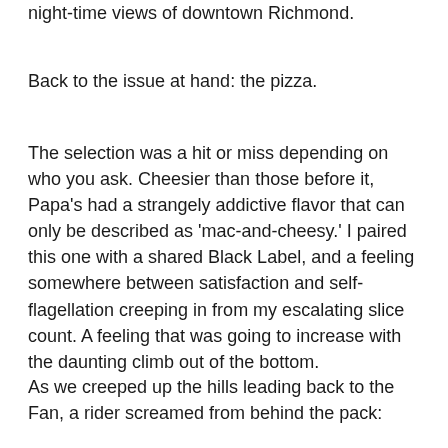night-time views of downtown Richmond.
Back to the issue at hand: the pizza.
The selection was a hit or miss depending on who you ask. Cheesier than those before it, Papa's had a strangely addictive flavor that can only be described as 'mac-and-cheesy.' I paired this one with a shared Black Label, and a feeling somewhere between satisfaction and self-flagellation creeping in from my escalating slice count. A feeling that was going to increase with the daunting climb out of the bottom.
As we creeped up the hills leading back to the Fan, a rider screamed from behind the pack: